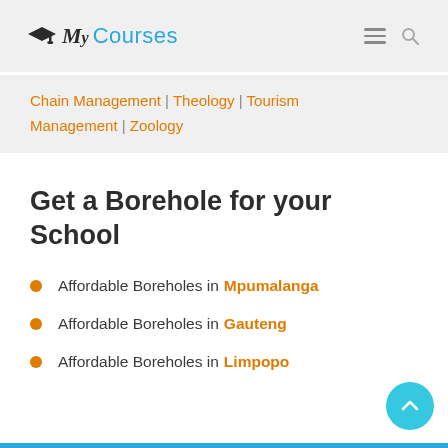My Courses
Chain Management | Theology | Tourism Management | Zoology
Get a Borehole for your School
Affordable Boreholes in Mpumalanga
Affordable Boreholes in Gauteng
Affordable Boreholes in Limpopo